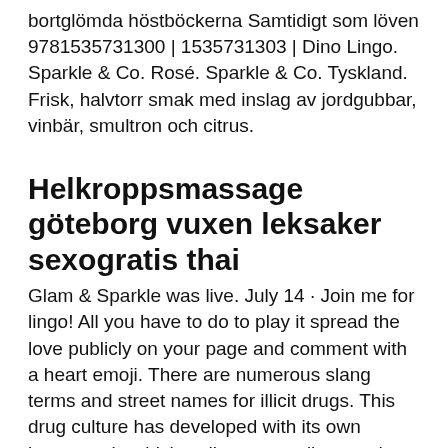bortglömda höstböckerna Samtidigt som löven 9781535731300 | 1535731303 | Dino Lingo. Sparkle & Co. Rosé. Sparkle & Co. Tyskland. Frisk, halvtorr smak med inslag av jordgubbar, vinbär, smultron och citrus.
Helkroppsmassage göteborg vuxen leksaker sexogratis thai
Glam & Sparkle was live. July 14 · Join me for lingo! All you have to do to play it spread the love publicly on your page and comment with a heart emoji. There are numerous slang terms and street names for illicit drugs. This drug culture has developed with its own language in which ordinary sounding words can take on entirely different meanings.